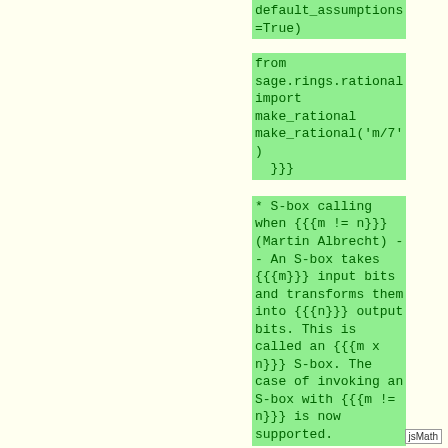default_assumptions=True)
from sage.rings.rational import make_rational make_rational('m/7') }}}
* S-box calling when {{{m != n}}} (Martin Albrecht) - - An S-box takes {{{m}}} input bits and transforms them into {{{n}}} output bits. This is called an {{{m x n}}} S-box. The case of invoking an S-box with {{{m != n}}} is now supported.